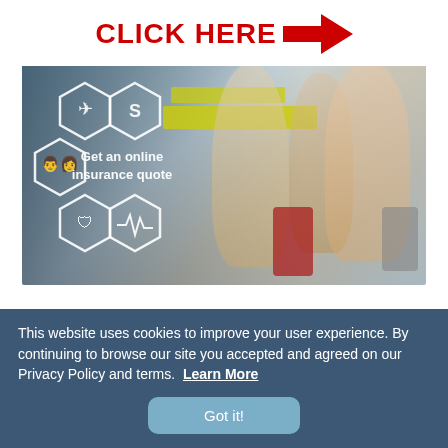CLICK HERE →
[Figure (photo): A happy family (couple with two children) walking through an airport terminal with luggage, overlaid with insurance icon hexagons and the text 'Get an online insurance quote']
This website uses cookies to improve your user experience. By continuing to browse our site you accepted and agreed on our Privacy Policy and terms.  Learn More